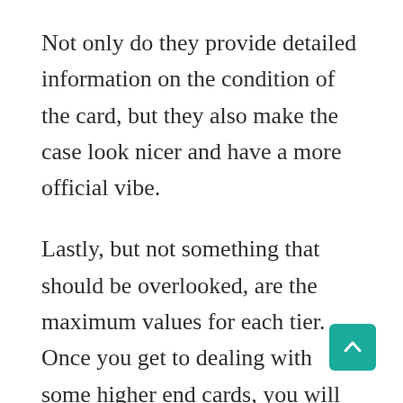Not only do they provide detailed information on the condition of the card, but they also make the case look nicer and have a more official vibe.
Lastly, but not something that should be overlooked, are the maximum values for each tier. Once you get to dealing with some higher end cards, you will outgrow some of the lower service levels, forcing you to pick some of the higher-level service levels. This does cost more money, but also means a faster